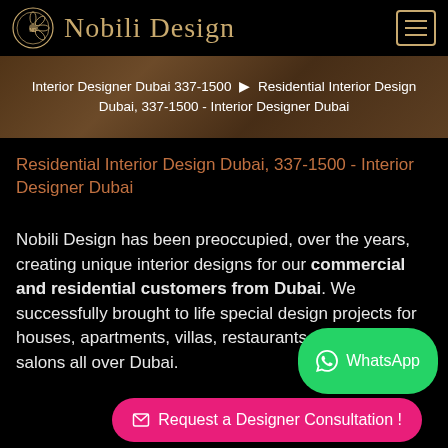Nobili Design
Interior Designer Dubai 337-1500 → Residential Interior Design Dubai, 337-1500 - Interior Designer Dubai
Residential Interior Design Dubai, 337-1500 - Interior Designer Dubai
Nobili Design has been preoccupied, over the years, creating unique interior designs for our commercial and residential customers from Dubai. We successfully brought to life special design projects for houses, apartments, villas, restaurants and beauty salons all over Dubai.
WhatsApp
Request a Designer Consultation !
[Figure (photo): Bottom portion of interior design photo visible at page bottom]